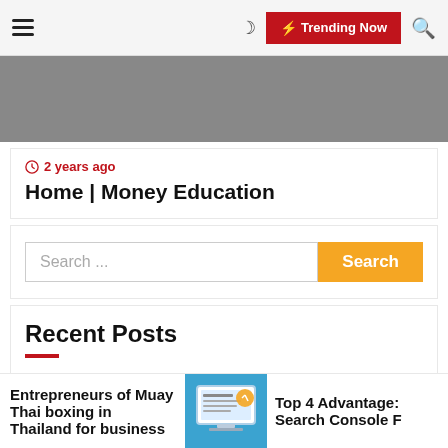Trending Now
[Figure (screenshot): Gray banner image area]
2 years ago
Home | Money Education
Search ...
Recent Posts
Amazing CenturyLink Internet Deals In North Carolina
Entrepreneurs of Muay Thai boxing in Thailand for business
[Figure (illustration): Computer/monitor illustration on blue background]
Top 4 Advantages Search Console F